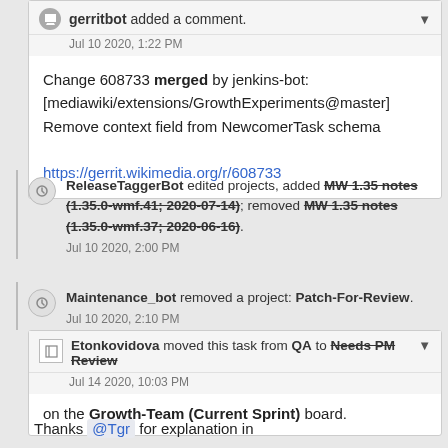gerritbot added a comment. Jul 10 2020, 1:22 PM
Change 608733 merged by jenkins-bot: [mediawiki/extensions/GrowthExperiments@master] Remove context field from NewcomerTask schema
https://gerrit.wikimedia.org/r/608733
ReleaseTaggerBot edited projects, added MW 1.35 notes (1.35.0-wmf.41; 2020-07-14); removed MW 1.35 notes (1.35.0-wmf.37; 2020-06-16). Jul 10 2020, 2:00 PM
Maintenance_bot removed a project: Patch-For-Review. Jul 10 2020, 2:10 PM
Etonkovidova moved this task from QA to Needs PM Review on the Growth-Team (Current Sprint) board. Jul 14 2020, 10:03 PM
Thanks @Tgr for explanation in